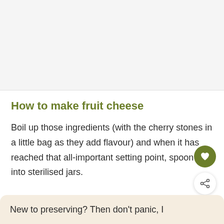[Figure (photo): Gray/white placeholder area at top of page, appears to be an image area for a recipe]
How to make fruit cheese
Boil up those ingredients (with the cherry stones in a little bag as they add flavour) and when it has reached that all-important setting point, spoon it into sterilised jars.
WHAT'S NEXT → Plum Fruit Cheese With...
New to preserving? Then don't panic, I